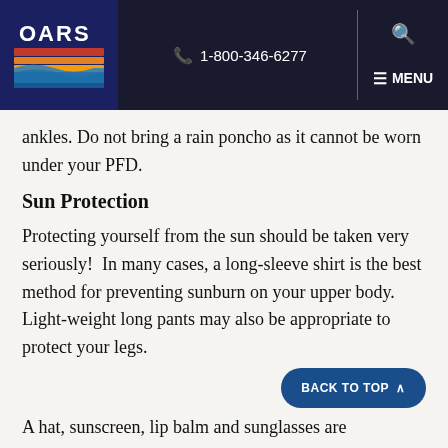[Figure (logo): OARS logo with colorful river/landscape design on dark blue background]
1-800-346-6277
ankles. Do not bring a rain poncho as it cannot be worn under your PFD.
Sun Protection
Protecting yourself from the sun should be taken very seriously!  In many cases, a long-sleeve shirt is the best method for preventing sunburn on your upper body.  Light-weight long pants may also be appropriate to protect your legs.
A hat, sunscreen, lip balm and sunglasses are